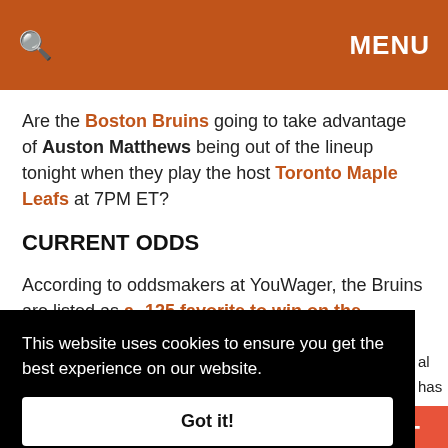🔍   MENU
Are the Boston Bruins going to take advantage of Auston Matthews being out of the lineup tonight when they play the host Toronto Maple Leafs at 7PM ET?
CURRENT ODDS
According to oddsmakers at YouWager, the Bruins are listed as a -125 favorite to win on the moneyline. The total is set at 5.5 goals.
⊗Bet Today's NHL Action
This website uses cookies to ensure you get the best experience on our website.
Got it!